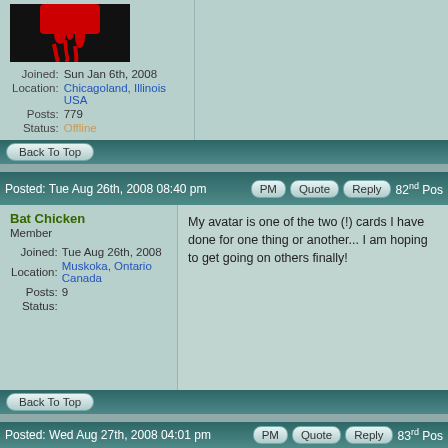Joined: Sun Jan 6th, 2008
Location: Chicagoland, Illinois USA
Posts: 779
Status: Offline
Back To Top
Posted: Tue Aug 26th, 2008 08:40 pm  PM  Quote  Reply  82nd Post
Bat Chicken
Member
Joined: Tue Aug 26th, 2008
Location: Muskoka, Ontario Canada
Posts: 9
Status:
My avatar is one of the two (!) cards I have done for one thing or another... I am hoping to get going on others finally!
Back To Top
Posted: Wed Aug 27th, 2008 04:01 pm  PM  Quote  Reply  83rd Post
nicole
Member
Bat Chicken that is beautiful :)